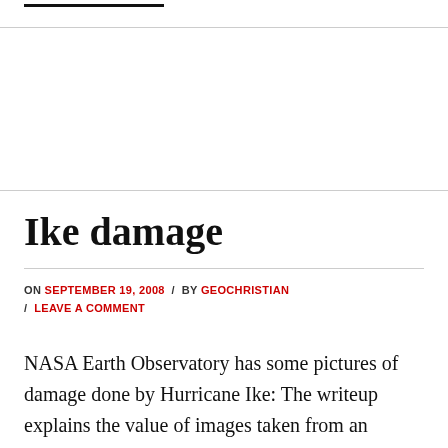Ike damage
ON SEPTEMBER 19, 2008 / BY GEOCHRISTIAN / LEAVE A COMMENT
NASA Earth Observatory has some pictures of damage done by Hurricane Ike: The writeup explains the value of images taken from an airplane, as compared to the value of satellite shots: The photos were taken to help communities respond to the disaster. Aerial photography